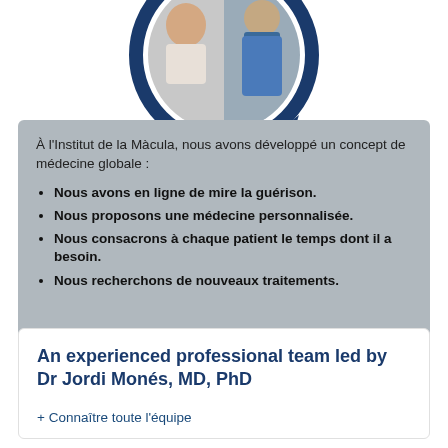[Figure (illustration): Circular illustration with arrow showing two photos: an elderly smiling man and a medical professional/surgeon wearing a mask and cap, framed in a dark navy circular arrow graphic]
À l'Institut de la Màcula, nous avons développé un concept de médecine globale :
Nous avons en ligne de mire la guérison.
Nous proposons une médecine personnalisée.
Nous consacrons à chaque patient le temps dont il a besoin.
Nous recherchons de nouveaux traitements.
+ Voir plus
An experienced professional team led by Dr Jordi Monés, MD, PhD
+ Connaître toute l'équipe